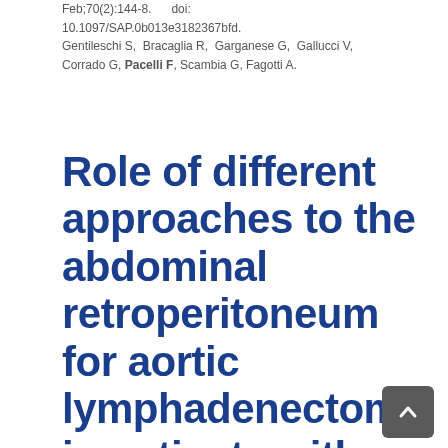Feb;70(2):144-8.  doi: 10.1097/SAP.0b013e3182367bfd. Gentileschi S, Bracaglia R, Garganese G, Gallucci V, Corrado G, Pacelli F, Scambia G, Fagotti A.
Role of different approaches to the abdominal retroperitoneum for aortic lymphadenectomy in patients with